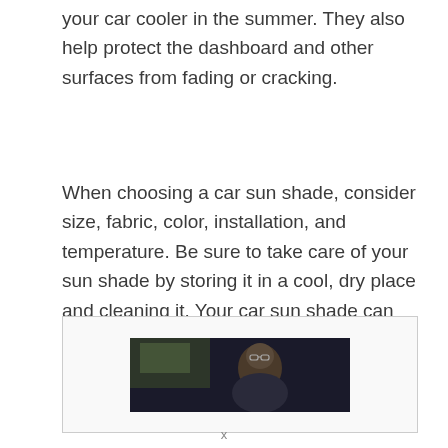your car cooler in the summer. They also help protect the dashboard and other surfaces from fading or cracking.
When choosing a car sun shade, consider size, fabric, color, installation, and temperature. Be sure to take care of your sun shade by storing it in a cool, dry place and cleaning it. Your car sun shade can last for years with a bit of care.
[Figure (photo): A person sitting inside a car, viewed from inside the vehicle. The image is dark with the person visible wearing glasses.]
x